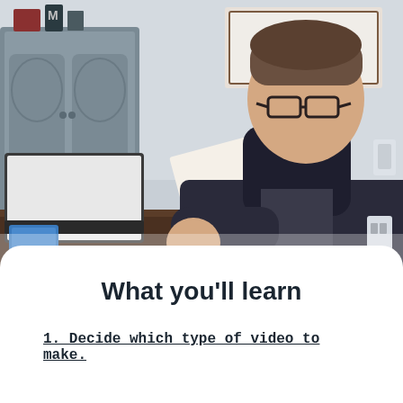[Figure (photo): A young man with glasses wearing a dark hoodie sits at a dark wooden table, looking down and flipping through a colorful binder/workbook. A laptop is open to his left. Books and papers are on the table. In the background is a gray cabinet and a framed sign on the wall.]
What you'll learn
1. Decide which type of video to make.